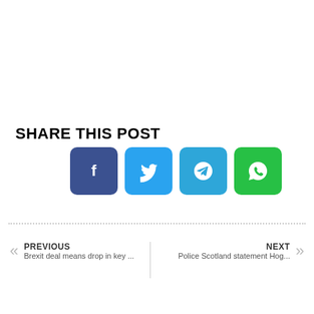SHARE THIS POST
[Figure (infographic): Four social media share buttons: Facebook (dark blue), Twitter (light blue), Telegram (teal blue), WhatsApp (green), each with a rounded square icon]
PREVIOUS
Brexit deal means drop in key ...
NEXT
Police Scotland statement Hog...